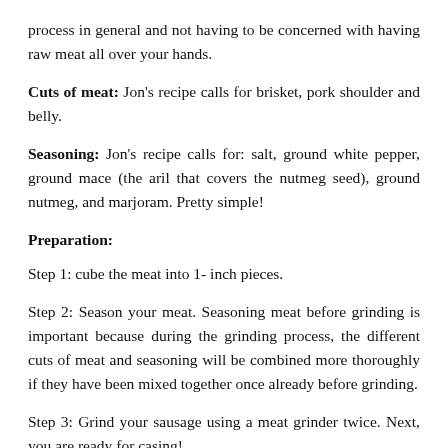process in general and not having to be concerned with having raw meat all over your hands.
Cuts of meat: Jon's recipe calls for brisket, pork shoulder and belly.
Seasoning: Jon's recipe calls for: salt, ground white pepper, ground mace (the aril that covers the nutmeg seed), ground nutmeg, and marjoram. Pretty simple!
Preparation:
Step 1: cube the meat into 1- inch pieces.
Step 2: Season your meat. Seasoning meat before grinding is important because during the grinding process, the different cuts of meat and seasoning will be combined more thoroughly if they have been mixed together once already before grinding.
Step 3: Grind your sausage using a meat grinder twice. Next, you are ready for casing!